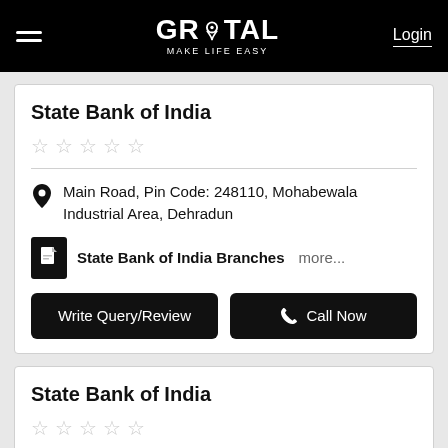GROTAL MAKE LIFE EASY | Login
State Bank of India
Main Road, Pin Code: 248110, Mohabewala Industrial Area, Dehradun
State Bank of India Branches more...
Write Query/Review
Call Now
State Bank of India